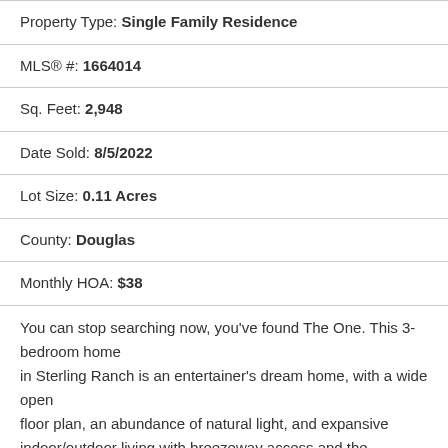Property Type: Single Family Residence
MLS® #: 1664014
Sq. Feet: 2,948
Date Sold: 8/5/2022
Lot Size: 0.11 Acres
County: Douglas
Monthly HOA: $38
You can stop searching now, you've found The One. This 3-bedroom home in Sterling Ranch is an entertainer's dream home, with a wide open floor plan, an abundance of natural light, and expansive indoor/outdoor living with breezeway access and the mountain ti...